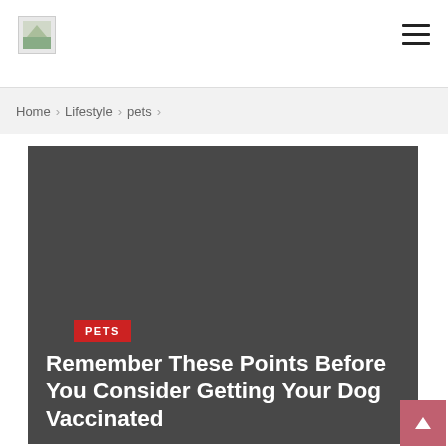Logo | Navigation menu
Home > Lifestyle > pets >
[Figure (photo): Dark gray hero image placeholder for a dog vaccination article]
Remember These Points Before You Consider Getting Your Dog Vaccinated